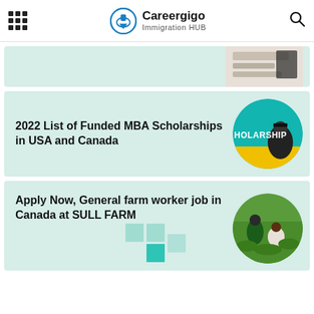Careergigo Immigration HUB
[Figure (screenshot): Partial card showing documents/papers at top right]
2022 List of Funded MBA Scholarships in USA and Canada
[Figure (photo): Circular image of a graduate in cap and gown with SCHOLARSHIP text on teal background]
Apply Now, General farm worker job in Canada at SULL FARM
[Figure (photo): Circular image of two people working in a farm/field with green plants]
[Figure (illustration): Decorative teal grid/squares pattern at the bottom of the farm worker card]